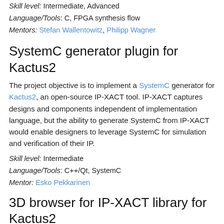Skill level: Intermediate, Advanced
Language/Tools: C, FPGA synthesis flow
Mentors: Stefan Wallentowitz, Philipp Wagner
SystemC generator plugin for Kactus2
The project objective is to implement a SystemC generator for Kactus2, an open-source IP-XACT tool. IP-XACT captures designs and components independent of implementation language, but the ability to generate SystemC from IP-XACT would enable designers to leverage SystemC for simulation and verification of their IP.
Skill level: Intermediate
Language/Tools: C++/Qt, SystemC
Mentor: Esko Pekkarinen
3D browser for IP-XACT library for Kactus2
Browsing lists and tree structures in a graphical user interface is often tedious and solutions that convey the big picture at the